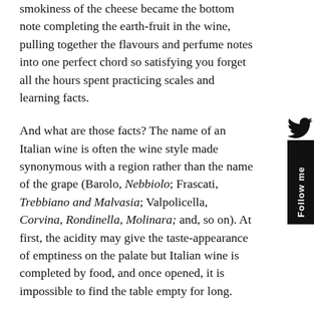smokiness of the cheese became the bottom note completing the earth-fruit in the wine, pulling together the flavours and perfume notes into one perfect chord so satisfying you forget all the hours spent practicing scales and learning facts.
And what are those facts? The name of an Italian wine is often the wine style made synonymous with a region rather than the name of the grape (Barolo, Nebbiolo; Frascati, Trebbiano and Malvasia; Valpolicella, Corvina, Rondinella, Molinara; and, so on). At first, the acidity may give the taste-appearance of emptiness on the palate but Italian wine is completed by food, and once opened, it is impossible to find the table empty for long.
Salice Salentino Riserva 2005, Candido bought at £11.95 Harrods